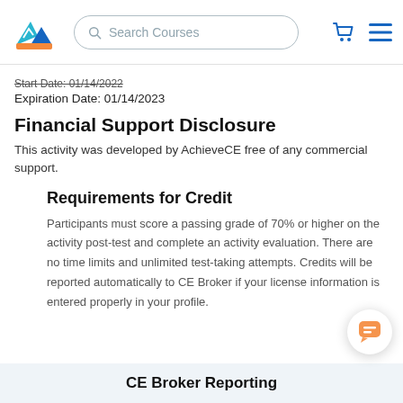Search Courses
Start Date: 01/14/2022
Expiration Date: 01/14/2023
Financial Support Disclosure
This activity was developed by AchieveCE free of any commercial support.
Requirements for Credit
Participants must score a passing grade of 70% or higher on the activity post-test and complete an activity evaluation. There are no time limits and unlimited test-taking attempts. Credits will be reported automatically to CE Broker if your license information is entered properly in your profile.
CE Broker Reporting